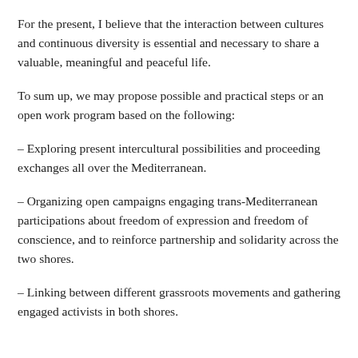For the present, I believe that the interaction between cultures and continuous diversity is essential and necessary to share a valuable, meaningful and peaceful life.
To sum up, we may propose possible and practical steps or an open work program based on the following:
– Exploring present intercultural possibilities and proceeding exchanges all over the Mediterranean.
– Organizing open campaigns engaging trans-Mediterranean participations about freedom of expression and freedom of conscience, and to reinforce partnership and solidarity across the two shores.
– Linking between different grassroots movements and gathering engaged activists in both shores.